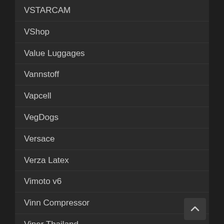VSTARCAM
VShop
Value Luggages
Vannstoff
Vapcell
VegDogs
Versace
Verza Latex
Vimoto v6
Vinn Compressor
Viper Thailand
Visa Autoshop
Viva